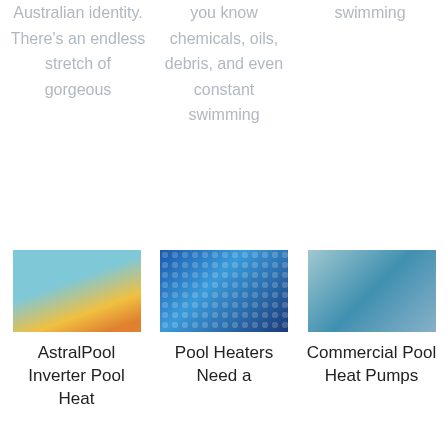Australian identity. There's an endless stretch of gorgeous
you know chemicals, oils, debris, and even constant swimming
swimming
[Figure (photo): Family of four in a swimming pool on a yellow float]
AstralPool Inverter Pool Heat
[Figure (photo): Close-up of blue bubble solar pool cover]
Pool Heaters Need a
[Figure (photo): Indoor commercial swimming pool with lane dividers]
Commercial Pool Heat Pumps